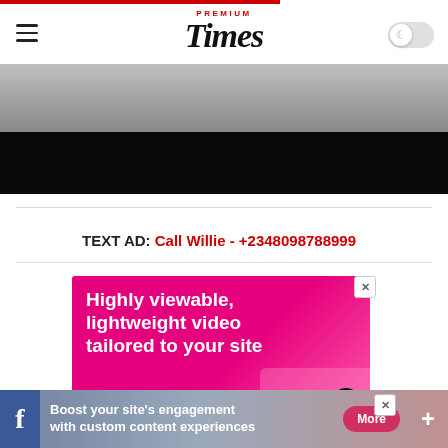Premium Times
[Figure (photo): Partial article image showing a dark/black overlay over a grayscale background photo]
TEXT AD: Call Willie - +2348098788999
[Figure (infographic): Pink/magenta advertisement banner reading: Highly viewable, lightweight video tailored to your site — INSTIGATOR]
[Figure (infographic): Bottom bar advertisement: Boost your site's engagement with custom content experiences — More button, Facebook icon and plus icon on sides]